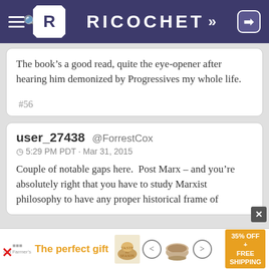RICOCHET
The book’s a good read, quite the eye-opener after hearing him demonized by Progressives my whole life.
#56
user_27438  @ForrestCox
5:29 PM PDT · Mar 31, 2015
Couple of notable gaps here.  Post Marx – and you’re absolutely right that you have to study Marxist philosophy to have any proper historical frame of
[Figure (screenshot): Advertisement banner: 'The perfect gift' with food product image, navigation arrows, and '35% OFF + FREE SHIPPING' badge]